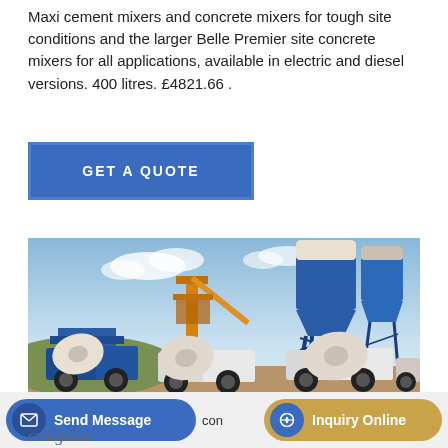Maxi cement mixers and concrete mixers for tough site conditions and the larger Belle Premier site concrete mixers for all applications, available in electric and diesel versions. 400 litres. £4821.66 .
GET A QUOTE
[Figure (photo): Industrial concrete batching plant with large blue and white cylindrical silos, yellow conveyor structures, and several blue and white concrete mixer trucks parked in the foreground on a dirt lot.]
Send Message
con
Inquiry Online
craigslist